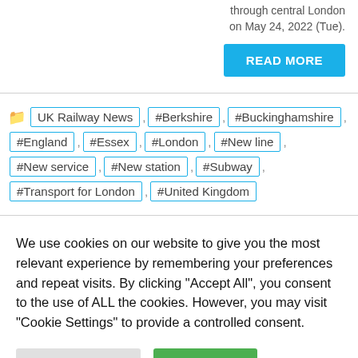through central London on May 24, 2022 (Tue).
READ MORE
UK Railway News, #Berkshire, #Buckinghamshire, #England, #Essex, #London, #New line, #New service, #New station, #Subway, #Transport for London, #United Kingdom
We use cookies on our website to give you the most relevant experience by remembering your preferences and repeat visits. By clicking "Accept All", you consent to the use of ALL the cookies. However, you may visit "Cookie Settings" to provide a controlled consent.
Cookie Settings   Accept All